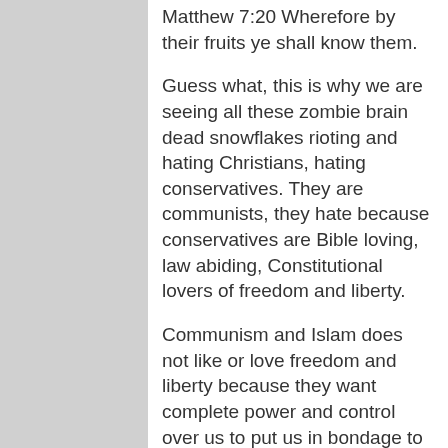Matthew 7:20 Wherefore by their fruits ye shall know them.
Guess what, this is why we are seeing all these zombie brain dead snowflakes rioting and hating Christians, hating conservatives. They are communists, they hate because conservatives are Bible loving, law abiding, Constitutional lovers of freedom and liberty.
Communism and Islam does not like or love freedom and liberty because they want complete power and control over us to put us in bondage to them so they will have absolute control over us and our tax dollars and every